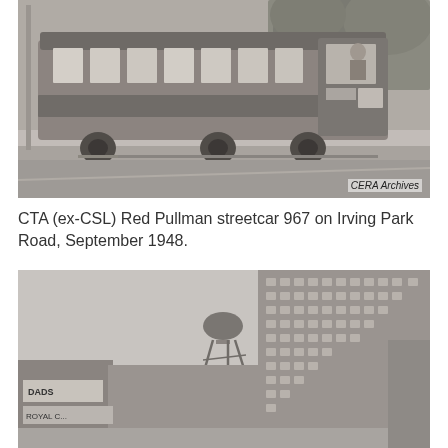[Figure (photo): Black and white photograph of a CTA (ex-CSL) Red Pullman streetcar number 967 on Irving Park Road, September 1948. The streetcar is shown from the side, with windows and a person visible leaning out. A watermark reads 'CERA Archives' in the bottom right corner.]
CTA (ex-CSL) Red Pullman streetcar 967 on Irving Park Road, September 1948.
[Figure (photo): Black and white photograph of an urban street scene showing a tall multi-story brick building on the right, a water tower in the background, and low commercial buildings with signs including 'DADS' and 'ROYAL C...' on the left.]